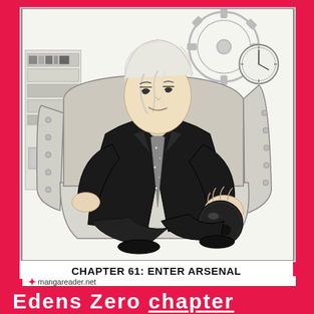[Figure (illustration): Manga chapter cover illustration for Edens Zero Chapter 61: Enter Arsenal. A male character with light/white messy hair wearing a black suit with a patterned/sparkly tie, seated in a large armchair with button details. He is holding a dark spherical object (a crystal ball or similar). Background shows bookshelves, gears, and a clock in a study/workshop setting. Black and white manga art style.]
CHAPTER 61: ENTER ARSENAL
mangareader.net
Edens Zero chapter